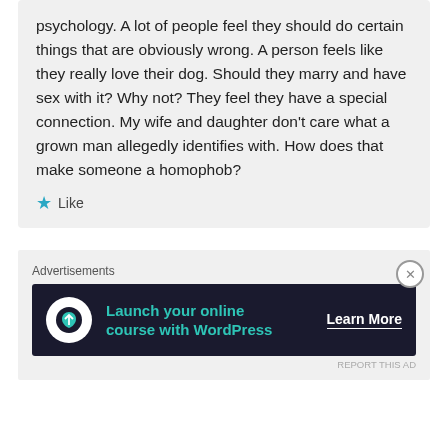psychology. A lot of people feel they should do certain things that are obviously wrong. A person feels like they really love their dog. Should they marry and have sex with it? Why not? They feel they have a special connection. My wife and daughter don't care what a grown man allegedly identifies with. How does that make someone a homophob?
Like
[Figure (screenshot): Advertisement banner: 'Launch your online course with WordPress' with a Learn More button, dark background with teal text, and a white circular icon.]